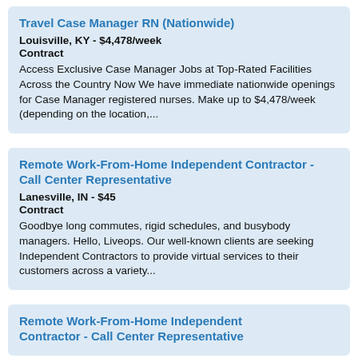Travel Case Manager RN (Nationwide) | Louisville, KY - $4,478/week | Contract | Access Exclusive Case Manager Jobs at Top-Rated Facilities Across the Country Now We have immediate nationwide openings for Case Manager registered nurses. Make up to $4,478/week (depending on the location,...
Remote Work-From-Home Independent Contractor - Call Center Representative | Lanesville, IN - $45 | Contract | Goodbye long commutes, rigid schedules, and busybody managers. Hello, Liveops. Our well-known clients are seeking Independent Contractors to provide virtual services to their customers across a variety...
Remote Work-From-Home Independent Contractor - Call Center Representative